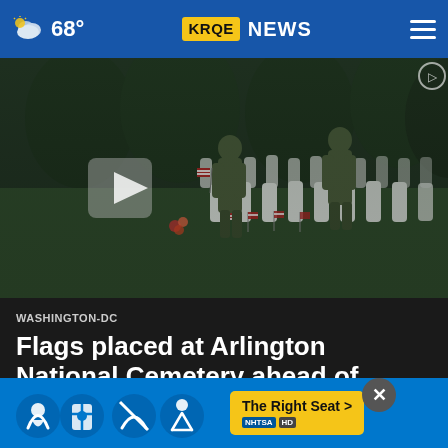68° KRQE NEWS
[Figure (photo): Soldiers in camouflage uniforms placing small American flags at white grave markers at Arlington National Cemetery, with rows of headstones and green trees in the background. A video play button is visible on the left side of the image.]
WASHINGTON-DC
Flags placed at Arlington National Cemetery ahead of Memorial Day
[Figure (infographic): NHTSA car seat safety advertisement banner with car seat icons and 'The Right Seat >' call-to-action button in yellow, and NHTSA logo.]